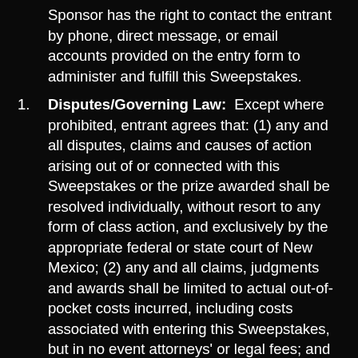Sponsor has the right to contact the entrant by phone, direct message, or email accounts provided on the entry form to administer and fulfill this Sweepstakes.
Disputes/Governing Law: Except where prohibited, entrant agrees that: (1) any and all disputes, claims and causes of action arising out of or connected with this Sweepstakes or the prize awarded shall be resolved individually, without resort to any form of class action, and exclusively by the appropriate federal or state court of New Mexico; (2) any and all claims, judgments and awards shall be limited to actual out-of-pocket costs incurred, including costs associated with entering this Sweepstakes, but in no event attorneys' or legal fees; and (3) unless otherwise prohibited, under no circumstances will entrant be permitted to obtain